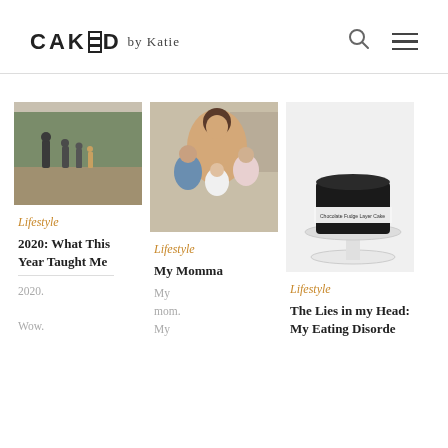CAKED by Katie
[Figure (photo): Family group photo outdoors in a field with trees]
Lifestyle
2020: What This Year Taught Me
2020.

Wow.
[Figure (photo): Vintage photo of a mother with three children indoors]
Lifestyle
My Momma
My mom. My
[Figure (photo): Black cake on a white cake stand with a label band around it]
Lifestyle
The Lies in my Head: My Eating Disorde